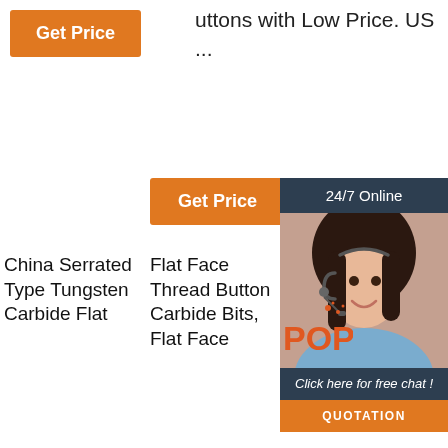[Figure (other): Orange 'Get Price' button top left]
uttons with Low Price. US ...
[Figure (other): Orange 'Get Price' button middle]
[Figure (other): 24/7 Online chat box with customer service representative photo, 'Click here for free chat!' text, and orange QUOTATION button]
[Figure (photo): China Serrated Type Tungsten Carbide Flat face button bit product photo]
[Figure (photo): Flat Face Thread Button Carbide Bits product photo showing two elongated metal bits]
[Figure (photo): T45-102 Threaded Button Bit Flat Face Button Bits product photo partially overlapped by chat box]
[Figure (other): POP badge/watermark overlay]
China Serrated Type Tungsten Carbide Flat
Flat Face Thread Button Carbide Bits, Flat Face
T45-102 Threaded Button Bit Flat Face Button Bits |